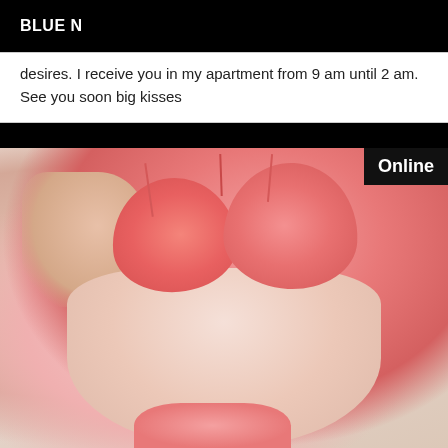BLUE N
desires. I receive you in my apartment from 9 am until 2 am. See you soon big kisses
[Figure (photo): Photo of a woman in pink lingerie against a white wall, with an 'Online' badge in the top right corner of the image]